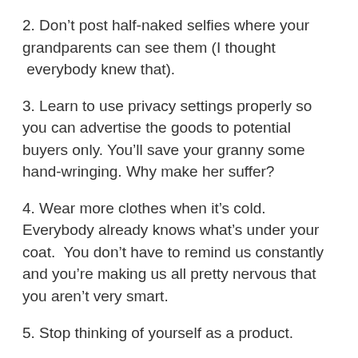2. Don't post half-naked selfies where your grandparents can see them (I thought  everybody knew that).
3. Learn to use privacy settings properly so you can advertise the goods to potential buyers only. You'll save your granny some hand-wringing. Why make her suffer?
4. Wear more clothes when it's cold. Everybody already knows what's under your coat.  You don't have to remind us constantly and you're making us all pretty nervous that you aren't very smart.
5. Stop thinking of yourself as a product.
6. See number 5.
7. See number 5.
8. See number 5.